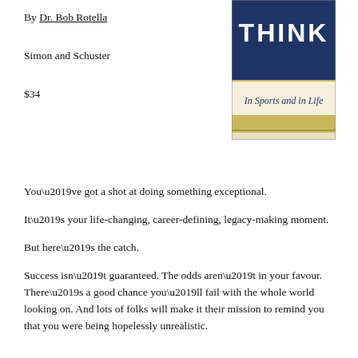By Dr. Bob Rotella
Simon and Schuster
$34
[Figure (illustration): Book cover with dark navy blue background, title 'THINK' in large white letters at top, a decorative gold/yellow horizontal band in the middle, and italic text 'In Sports and in Life' on a cream/beige background below the title.]
You’ve got a shot at doing something exceptional.
It’s your life-changing, career-defining, legacy-making moment.
But here’s the catch.
Success isn’t guaranteed. The odds aren’t in your favour. There’s a good chance you’ll fail with the whole world looking on. And lots of folks will make it their mission to remind you that you were being hopelessly unrealistic.